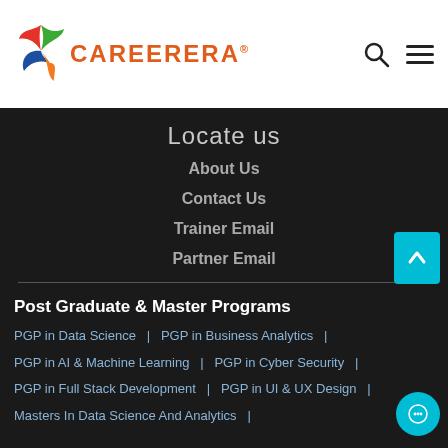[Figure (logo): Careerera logo with colorful leaf/wing SVG and orange text]
Locate us
About Us
Contact Us
Trainer Email
Partner Email
Post Graduate & Master Programs
PGP in Data Science  |  PGP in Business Analytics  |  PGP in AI & Machine Learning  |  PGP in Cyber Security  |  PGP in Full Stack Development  |  PGP in UI & UX Design  |  Masters In Data Science And Analytics  |